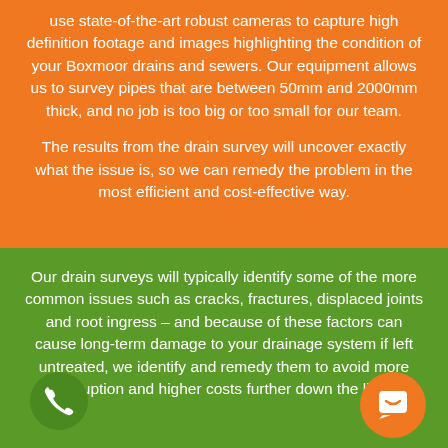use state-of-the-art robust cameras to capture high definition footage and images highlighting the condition of your Boxmoor drains and sewers. Our equipment allows us to survey pipes that are between 50mm and 2000mm thick, and no job is too big or too small for our team.
The results from the drain survey will uncover exactly what the issue is, so we can remedy the problem in the most efficient and cost-effective way.
Our drain surveys will typically identify some of the more common issues such as cracks, fractures, displaced joints and root ingress – and because of these factors can cause long-term damage to your drainage system if left untreated, we identify and remedy them to avoid more disruption and higher costs further down the line.